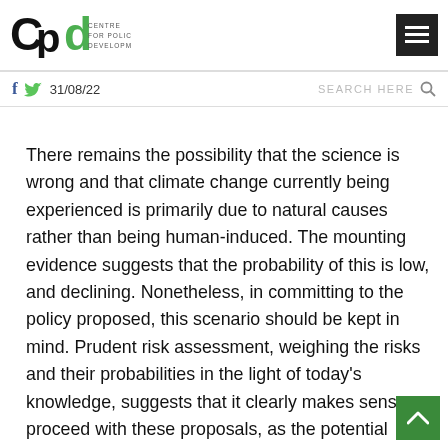[Figure (logo): CPD Centre for Policy Development logo]
f  🐦  31/08/22    SEARCH HERE 🔍
There remains the possibility that the science is wrong and that climate change currently being experienced is primarily due to natural causes rather than being human-induced. The mounting evidence suggests that the probability of this is low, and declining. Nonetheless, in committing to the policy proposed, this scenario should be kept in mind. Prudent risk assessment, weighing the risks and their probabilities in the light of today's knowledge, suggests that it clearly makes sense to proceed with these proposals, as the potential impact of dangerous climate change may be catastrophic, while the costs of carbon emission reduction are manageable. To continue with business-